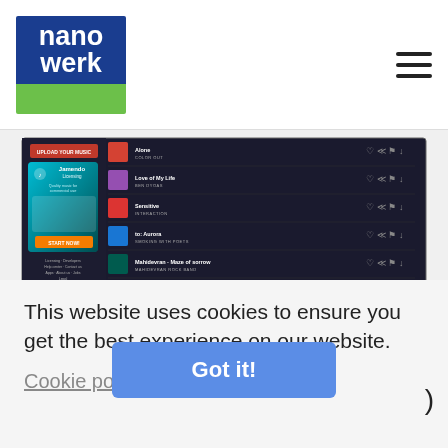nanowerk
[Figure (screenshot): Screenshot of Jamendo music streaming website showing song listings (Alone - Color Cut, Love of My Life - Ben Dyoas, Sensitive - Interaction, to: Aurora - Smoking With Poets, Mahidevran - Maze of Sorrow - Mahidevran Rock Band) with Hot Selections playlists section below (Fresh New, Indie, Singalong, Metal, Beatmaker's Arena, Time to Dream). Left sidebar shows Upload Your Music button, Jamendo Licensing promotional box, and navigation links.]
This website uses cookies to ensure you get the best experience on our website.
Cookie policy
)
Got it!
become a music explorer and be a part of a great